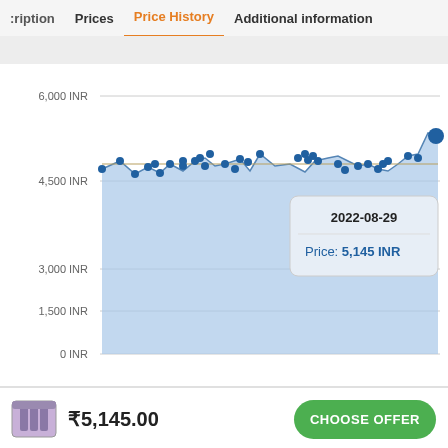ription   Prices   Price History   Additional information
[Figure (area-chart): Area chart showing price history in INR over time. Y-axis: 0 INR to 6,000 INR. Data points cluster around 4,500-5,500 INR. Tooltip shown for 2022-08-29: Price: 5,145 INR. Blue shaded area fill below line.]
2022-08-29
Price: 5,145 INR
₹5,145.00
CHOOSE OFFER